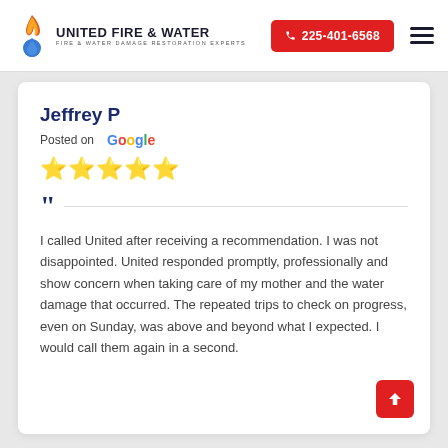[Figure (logo): United Fire & Water logo with flame and water drop icon, company name in bold uppercase, tagline 'Fire & Water Damage Restoration Experts']
225-401-6568
Jeffrey P
Posted on Google
★★★★★
I called United after receiving a recommendation. I was not disappointed. United responded promptly, professionally and show concern when taking care of my mother and the water damage that occurred. The repeated trips to check on progress, even on Sunday, was above and beyond what I expected. I would call them again in a second.